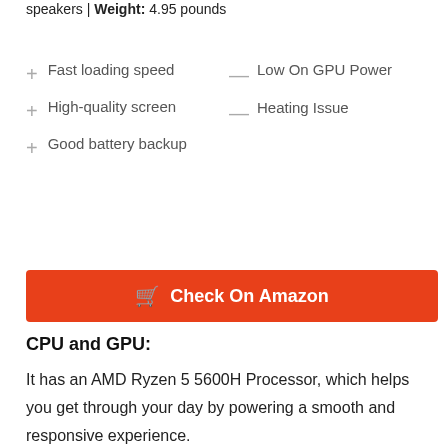speakers | Weight: 4.95 pounds
Fast loading speed
High-quality screen
Good battery backup
Low On GPU Power
Heating Issue
Check On Amazon
CPU and GPU:
It has an AMD Ryzen 5 5600H Processor, which helps you get through your day by powering a smooth and responsive experience.